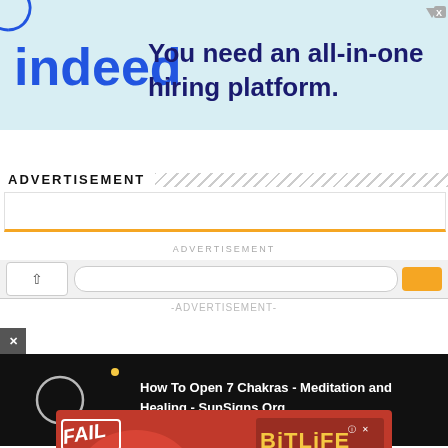[Figure (screenshot): Indeed hiring platform advertisement banner with logo and tagline 'You need an all-in-one hiring platform.']
[Figure (screenshot): Browser chrome with back button, URL bar, and orange button]
ADVERTISEMENT
[Figure (screenshot): Advertisement placeholder box with orange bottom border line]
ADVERTISEMENT
-ADVERTISEMENT-
[Figure (screenshot): Video panel showing 'How To Open 7 Chakras - Meditation and Healing - SunSigns.Org' on black background with circular loader icon]
[Figure (screenshot): BitLife 'START A NEW LIFE' advertisement banner with FAIL text, cartoon character, flames, and BitLife logo on red background]